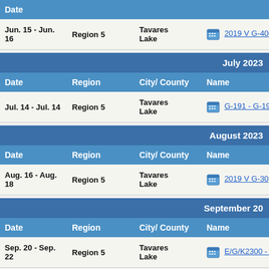| Date | Region | City/ County | Name |
| --- | --- | --- | --- |
| Jun. 15 - Jun. 16 | Region 5 | Tavares Lake | 2019 V G-400... |
| Jul. 14 - Jul. 14 | Region 5 | Tavares Lake | G-191 - G-191 D... |
| Aug. 16 - Aug. 18 | Region 5 | Tavares Lake | 2019 V G-30... |
| Sep. 20 - Sep. 22 | Region 5 | Tavares Lake | E/G/K2300 - E... |